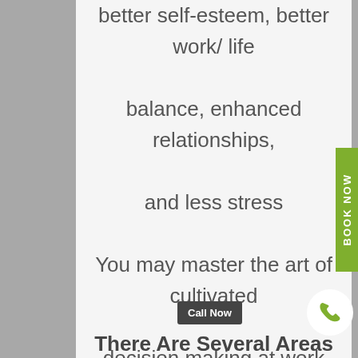better self-esteem, better work/ life balance, enhanced relationships, and less stress
You may master the art of cultivated decision making at work and home
We are highly trained as generalists and can coach superbly on any aspect of life
There Are Several Areas Of Coaching